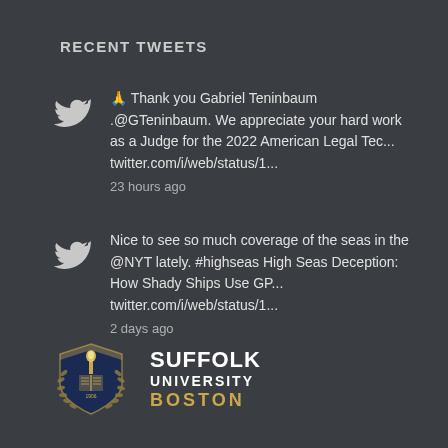RECENT TWEETS
🙏 Thank you Gabriel Teninbaum .@GTeninbaum. We appreciate your hard work as a Judge for the 2022 American Legal Tec... twitter.com/i/web/status/1...
23 hours ago
Nice to see so much coverage of the seas in the @NYT lately. #highseas High Seas Deception: How Shady Ships Use GP... twitter.com/i/web/status/1...
2 days ago
[Figure (logo): Suffolk University Boston shield logo with torch and open book, surrounded by laurel wreath]